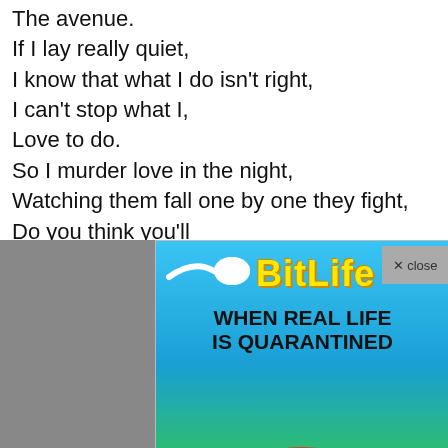The avenue.
If I lay really quiet,
I know that what I do isn't right,
I can't stop what I,
Love to do.
So I murder love in the night,
Watching them fall one by one they fight,
Do you think you'll
Love
Baby
Swee
On th
'Caus
Just a
I love
A litt
(Muc
You can see me,
[Figure (advertisement): BitLife app advertisement. Blue background with sperm logo, yellow BitLife text, tagline: WHEN REAL LIFE IS QUARANTINED, rainbow with emoji face wearing mask and unicorn at bottom.]